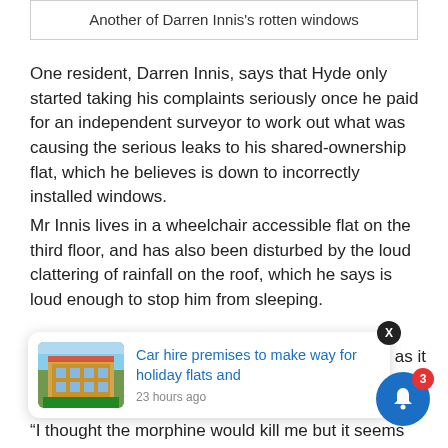Another of Darren Innis's rotten windows
One resident, Darren Innis, says that Hyde only started taking his complaints seriously once he paid for an independent surveyor to work out what was causing the serious leaks to his shared-ownership flat, which he believes is down to incorrectly installed windows.
Mr Innis lives in a wheelchair accessible flat on the third floor, and has also been disturbed by the loud clattering of rainfall on the roof, which he says is loud enough to stop him from sleeping.
He said: “I’m on nerve drugs and morphi… after spinal … apartment as it
[Figure (screenshot): Notification card overlay showing news article thumbnail with colourful building and blue link text 'Car hire premises to make way for holiday flats and' with timestamp '23 hours ago']
“I thought the morphine would kill me but it seems